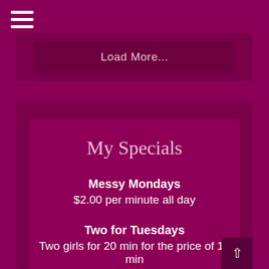[Figure (other): Hamburger menu icon — three horizontal white lines stacked]
Load More...
My Specials
Messy Mondays
$2.00 per minute all day
Two for Tuesdays
Two girls for 20 min for the price of 15 min